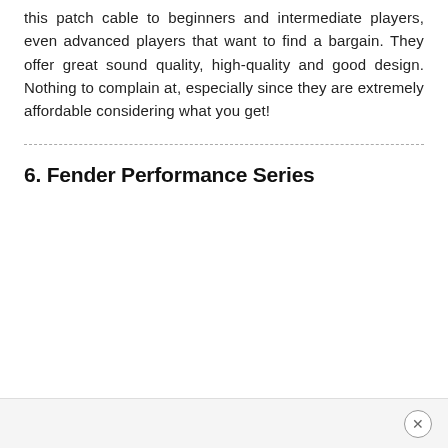this patch cable to beginners and intermediate players, even advanced players that want to find a bargain. They offer great sound quality, high-quality and good design. Nothing to complain at, especially since they are extremely affordable considering what you get!
6. Fender Performance Series